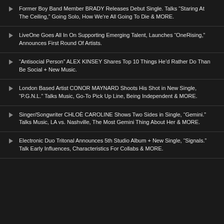Former Boy Band Member BRADY Releases Debut Single. Talks “Staring At The Ceiling,” Going Solo, How We’re All Going To Die & MORE.
LiveOne Goes All In On Supporting Emerging Talent, Launches “OneRising,” Announces First Round Of Artists.
“Antisocial Person” ALEX KINSEY Shares Top 10 Things He’d Rather Do Than Be Social + New Music.
London Based Artist CONOR MAYNARD Shoots His Shot in New Single, “P.G.N.L.” Talks Music, Go-To Pick Up Line, Being Independent & MORE.
Singer/Songwriter CHLOÈ CAROLINE Shows Two Sides in Single, “Gemini.” Talks Music, LA vs. Nashville, The Most Gemini Thing About Her & MORE.
Electronic Duo Tritonal Announces 5th Studio Album + New Single, “Signals.” Talk Early Influences, Characteristics For Collabs & MORE.